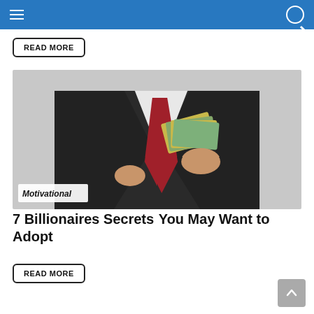Navigation bar with hamburger menu and search icon
READ MORE
[Figure (photo): A man in a dark suit with a red tie, tucking a fan of dollar bills into his breast pocket against a grey background. Category label 'Motivational' overlaid at bottom left.]
7 Billionaires Secrets You May Want to Adopt
READ MORE